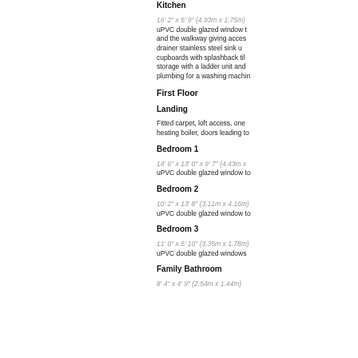Kitchen
16' 2" x 5' 9" (4.93m x 1.75m)
uPVC double glazed window t... and the walkway giving acces... drainer stainless steel sink u... cupboards with splashback til... storage with a ladder unit and ... plumbing for a washing machin...
First Floor
Landing
Fitted carpet, loft access, one... heating boiler, doors leading to...
Bedroom 1
14' 6" x 13' 0" x 9' 7" (4.43m x ...
uPVC double glazed window to...
Bedroom 2
10' 2" x 13' 8" (3.11m x 4.16m)
uPVC double glazed window to...
Bedroom 3
11' 0" x 5' 10" (3.35m x 1.78m)
uPVC double glazed windows...
Family Bathroom
8' 4" x 4' 9" (2.54m x 1.44m)